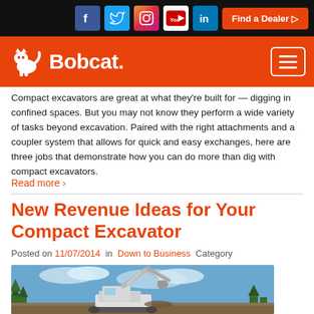Bobcat website header with social icons, Find a Dealer button, and Bobcat logo navigation bar
Compact excavators are great at what they're built for — digging in confined spaces. But you may not know they perform a wide variety of tasks beyond excavation. Paired with the right attachments and a coupler system that allows for quick and easy exchanges, here are three jobs that demonstrate how you can do more than dig with compact excavators.
Read more ›
New Revenue Ideas for Your Compact Excavator
Posted on 11/07/2014  in  Down to Business  Category
[Figure (photo): A Bobcat compact excavator outdoors against a sky background with trees, showing the excavator arm extended upward]